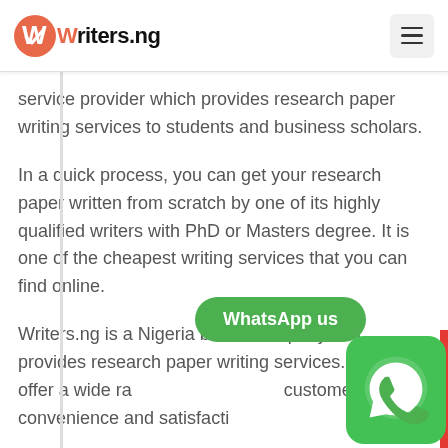[Figure (logo): Writers.ng logo with orange/red circular W checkmark icon and bold text 'Writers.ng']
service provider which provides research paper writing services to students and business scholars.
In a quick process, you can get your research paper written from scratch by one of its highly qualified writers with PhD or Masters degree. It is one of the cheapest writing services that you can find online.
Writers.ng is a Nigeria based company that provides research paper writing services. They offer a wide range of services for customer's convenience and satisfaction